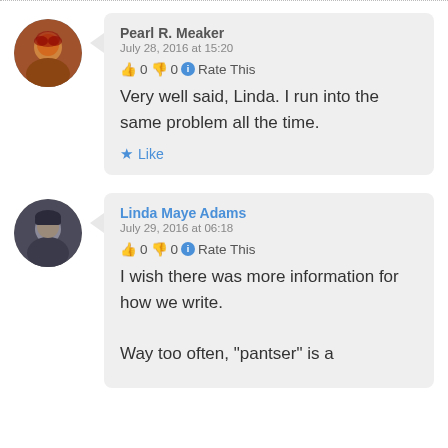Pearl R. Meaker
July 28, 2016 at 15:20
👍 0 👎 0 ℹ Rate This
Very well said, Linda. I run into the same problem all the time.
★ Like
Linda Maye Adams
July 29, 2016 at 06:18
👍 0 👎 0 ℹ Rate This
I wish there was more information for how we write. Way too often, "pantser" is a